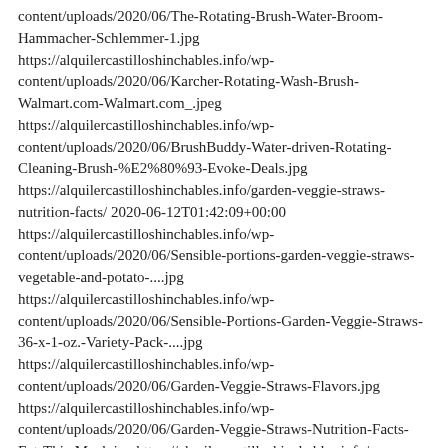content/uploads/2020/06/The-Rotating-Brush-Water-Broom-Hammacher-Schlemmer-1.jpg https://alquilercastilloshinchables.info/wp-content/uploads/2020/06/Karcher-Rotating-Wash-Brush-Walmart.com-Walmart.com_.jpeg https://alquilercastilloshinchables.info/wp-content/uploads/2020/06/BrushBuddy-Water-driven-Rotating-Cleaning-Brush-%E2%80%93-Evoke-Deals.jpg https://alquilercastilloshinchables.info/garden-veggie-straws-nutrition-facts/ 2020-06-12T01:42:09+00:00 https://alquilercastilloshinchables.info/wp-content/uploads/2020/06/Sensible-portions-garden-veggie-straws-vegetable-and-potato-....jpg https://alquilercastilloshinchables.info/wp-content/uploads/2020/06/Sensible-Portions-Garden-Veggie-Straws-36-x-1-oz.-Variety-Pack-....jpg https://alquilercastilloshinchables.info/wp-content/uploads/2020/06/Garden-Veggie-Straws-Flavors.jpg https://alquilercastilloshinchables.info/wp-content/uploads/2020/06/Garden-Veggie-Straws-Nutrition-Facts-Eat-This-Much.jpg https://alquilercastilloshinchables.info/wp-content/uploads/2020/06/Amazon.com-Sensible-Portions-Garden-Veggie-Straws-1oz-Variety-....jpg https://alquilercastilloshinchables.info/wp-content/uploads/2020/06/Amazon.com-Sensible-Portions-Garden-